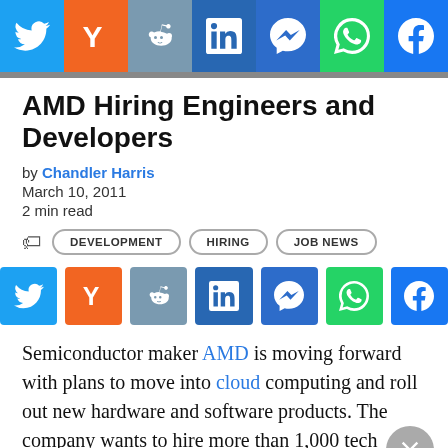[Figure (infographic): Social sharing bar at the top with icons for Twitter, Hacker News (Y), Reddit, LinkedIn, Messenger, WhatsApp, and Facebook]
AMD Hiring Engineers and Developers
by Chandler Harris
March 10, 2011
2 min read
DEVELOPMENT  HIRING  JOB NEWS
[Figure (infographic): Social sharing buttons row: Twitter (blue), Hacker News Y (orange), Reddit (grey-blue), LinkedIn (dark blue), Messenger (dark blue), WhatsApp (green), Facebook (blue)]
Semiconductor maker AMD is moving forward with plans to move into cloud computing and roll out new hardware and software products. The company wants to hire more than 1,000 tech professionals worldwide, primarily design engineers, software professionals and IT specialists.